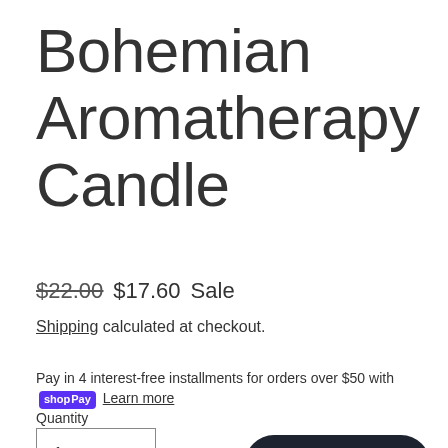Bohemian Aromatherapy Candle
$22.00 $17.60 Sale
Shipping calculated at checkout.
Pay in 4 interest-free installments for orders over $50 with Shop Pay Learn more
Quantity
1
Chat with us
ADD TO CART